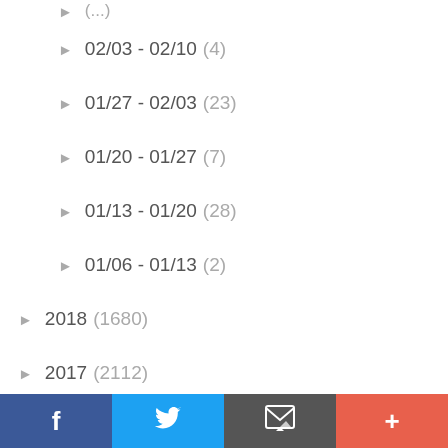02/03 - 02/10 (4)
01/27 - 02/03 (23)
01/20 - 01/27 (7)
01/13 - 01/20 (28)
01/06 - 01/13 (2)
2018 (1680)
2017 (2112)
2016 (2335)
2015 (1557)
2014 (1709)
2013 (1943)